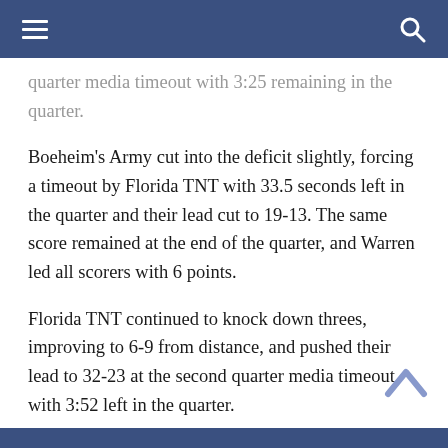≡  [navigation bar]  🔍
...quarter media timeout with 3:25 remaining in the quarter.
Boeheim's Army cut into the deficit slightly, forcing a timeout by Florida TNT with 33.5 seconds left in the quarter and their lead cut to 19-13. The same score remained at the end of the quarter, and Warren led all scorers with 6 points.
Florida TNT continued to knock down threes, improving to 6-9 from distance, and pushed their lead to 32-23 at the second quarter media timeout with 3:52 left in the quarter.
With a lead in progress, Florida TNT all...